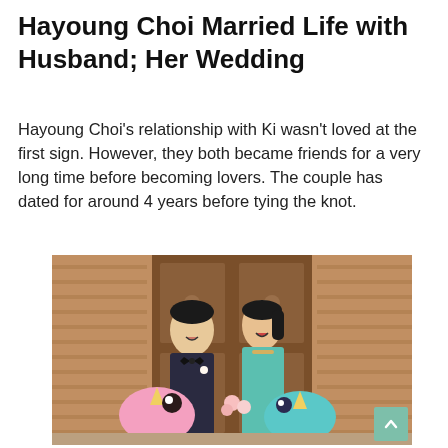Hayoung Choi Married Life with Husband; Her Wedding
Hayoung Choi's relationship with Ki wasn't loved at the first sign. However, they both became friends for a very long time before becoming lovers. The couple has dated for around 4 years before tying the knot.
[Figure (photo): A couple standing together and smiling in front of an ornate wooden door. The man is wearing a dark suit with a bow tie and boutonnière; the woman is wearing a light blue/teal dress. They are both holding colorful inflatable unicorn toys — a pink one and a teal one. The woman is laughing joyfully.]